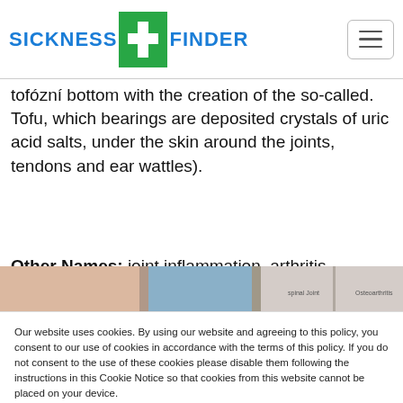[Figure (logo): Sickness Finder logo with green cross and blue text, plus hamburger menu button]
tofózní bottom with the creation of the so-called. Tofu, which bearings are deposited crystals of uric acid salts, under the skin around the joints, tendons and ear wattles).
Other Names: joint inflammation, arthritis, infectious arthritis, rheumatoid arthritis, rheumatism, rheumatoid arthritis, gouty arthritis, gout, erosive arthritis, psoriatic arthritis
[Figure (photo): Partial photo strip showing medical/joint images]
Our website uses cookies. By using our website and agreeing to this policy, you consent to our use of cookies in accordance with the terms of this policy. If you do not consent to the use of these cookies please disable them following the instructions in this Cookie Notice so that cookies from this website cannot be placed on your device.
I ACCEPT COOKIES